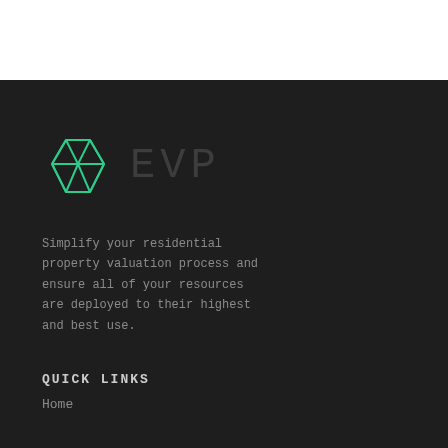[Figure (logo): EVP logo: green geometric hexagon/gem shape with 'EVP' text to the right in dark monospace font]
Simplify your residential property valuation process and ensure all of your resources are deployed to their highest and best use.
QUICK LINKS
Home